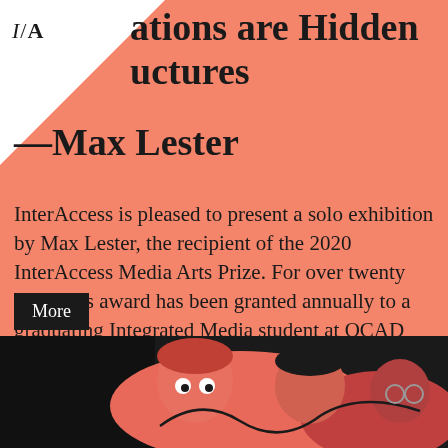ations are Hidden uctures —Max Lester
InterAccess is pleased to present a solo exhibition by Max Lester, the recipient of the 2020 InterAccess Media Arts Prize. For over twenty years this award has been granted annually to a graduating Integrated Media student at OCAD University whose work exhibits excellence and innovation in new media practice.
More
[Figure (illustration): Bottom portion of page showing colorful cartoon/illustrated figures with pinkish-red hues against a dark background]